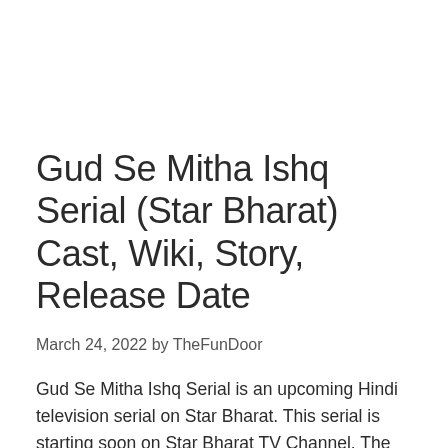Gud Se Mitha Ishq Serial (Star Bharat) Cast, Wiki, Story, Release Date
March 24, 2022 by TheFunDoor
Gud Se Mitha Ishq Serial is an upcoming Hindi television serial on Star Bharat. This serial is starting soon on Star Bharat TV Channel. The name of the serial is suggest that the serial is a romantic family drama.